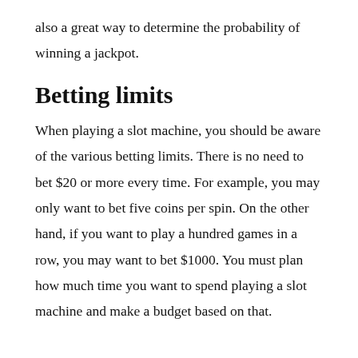also a great way to determine the probability of winning a jackpot.
Betting limits
When playing a slot machine, you should be aware of the various betting limits. There is no need to bet $20 or more every time. For example, you may only want to bet five coins per spin. On the other hand, if you want to play a hundred games in a row, you may want to bet $1000. You must plan how much time you want to spend playing a slot machine and make a budget based on that.